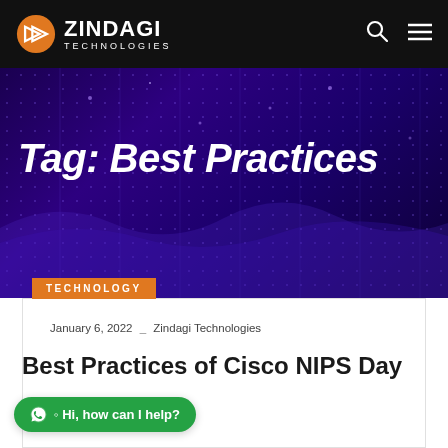[Figure (logo): Zindagi Technologies logo with orange chevron icon on black navbar, with search and hamburger menu icons]
[Figure (illustration): Dark purple/blue hero banner with digital grid/network dot pattern background]
Tag: Best Practices
TECHNOLOGY
January 6, 2022 _ Zindagi Technologies
Best Practices of Cisco NIPS Day
Hi, how can I help?